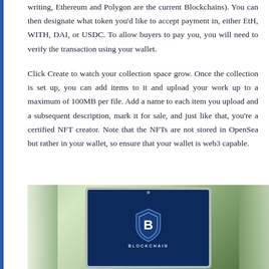writing, Ethereum and Polygon are the current Blockchains). You can then designate what token you'd like to accept payment in, either EtH, WITH, DAI, or USDC. To allow buyers to pay you, you will need to verify the transaction using your wallet.
Click Create to watch your collection space grow. Once the collection is set up, you can add items to it and upload your work up to a maximum of 100MB per file. Add a name to each item you upload and a subsequent description, mark it for sale, and just like that, you're a certified NFT creator. Note that the NFTs are not stored in OpenSea but rather in your wallet, so ensure that your wallet is web3 capable.
[Figure (photo): A laptop/tablet displaying a Blockchain logo (shield with letter B) on a dark blue screen, set against a blurred outdoor green background with window frames visible on the sides.]